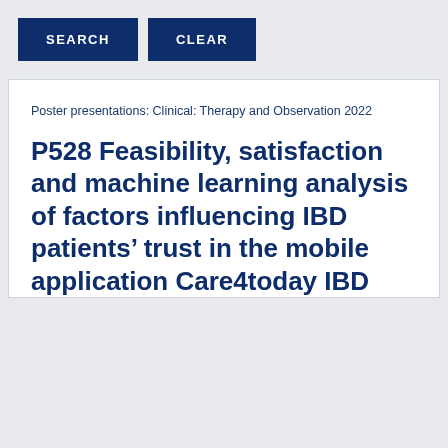SEARCH   CLEAR
Poster presentations: Clinical: Therapy and Observation 2022
P528 Feasibility, satisfaction and machine learning analysis of factors influencing IBD patients’ trust in the mobile application Care4today IBD